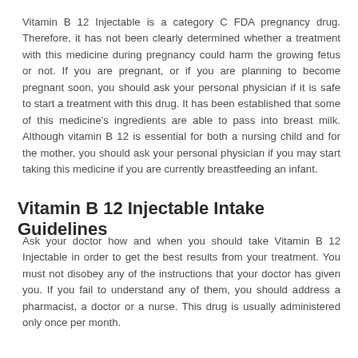Vitamin B 12 Injectable is a category C FDA pregnancy drug. Therefore, it has not been clearly determined whether a treatment with this medicine during pregnancy could harm the growing fetus or not. If you are pregnant, or if you are planning to become pregnant soon, you should ask your personal physician if it is safe to start a treatment with this drug. It has been established that some of this medicine's ingredients are able to pass into breast milk. Although vitamin B 12 is essential for both a nursing child and for the mother, you should ask your personal physician if you may start taking this medicine if you are currently breastfeeding an infant.
Vitamin B 12 Injectable Intake Guidelines
Ask your doctor how and when you should take Vitamin B 12 Injectable in order to get the best results from your treatment. You must not disobey any of the instructions that your doctor has given you. If you fail to understand any of them, you should address a pharmacist, a doctor or a nurse. This drug is usually administered only once per month.